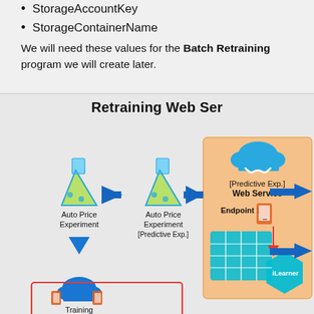StorageAccountKey
StorageContainerName
We will need these values for the Batch Retraining program we will create later.
[Figure (infographic): Retraining Web Service diagram showing Auto Price Experiment flowing to Auto Price Experiment [Predictive Exp.] flowing to [Predictive Exp.] Web Service with Endpoint 1, .iLearner, and a Training web service below with red border box. Azure cloud icons and flask/beaker icons used throughout.]